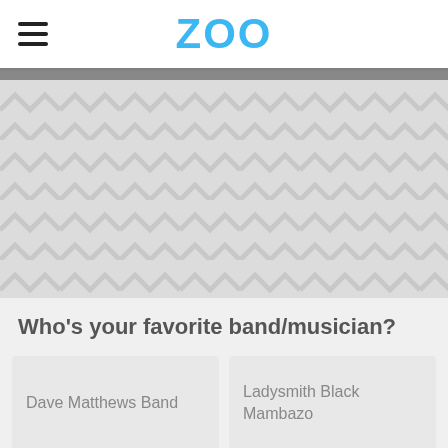ZOO
[Figure (illustration): Chevron/herringbone pattern on light gray background below header]
Who's your favorite band/musician?
Dave Matthews Band
Ladysmith Black Mambazo
Kishi Bashi
Ariana Grande